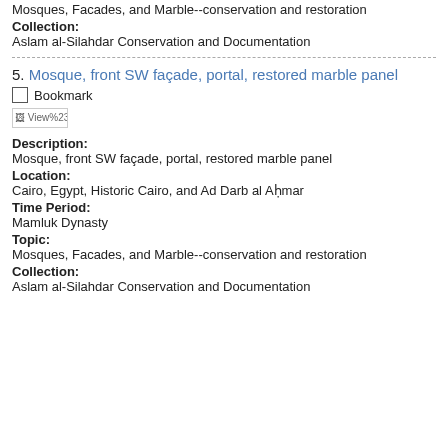Mosques, Facades, and Marble--conservation and restoration
Collection:
Aslam al-Silahdar Conservation and Documentation
5. Mosque, front SW façade, portal, restored marble panel
Bookmark
[Figure (other): Broken image icon labeled View%23]
Description:
Mosque, front SW façade, portal, restored marble panel
Location:
Cairo, Egypt, Historic Cairo, and Ad Darb al Aḥmar
Time Period:
Mamluk Dynasty
Topic:
Mosques, Facades, and Marble--conservation and restoration
Collection:
Aslam al-Silahdar Conservation and Documentation